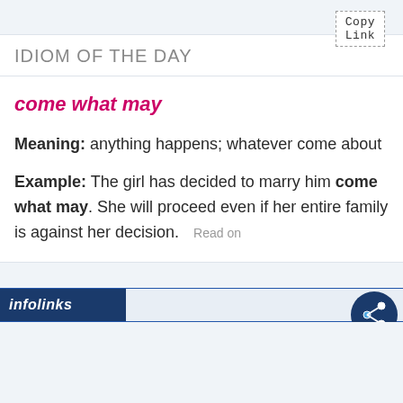[Figure (screenshot): Copy Link button with dashed border in top right corner]
IDIOM OF THE DAY
come what may
Meaning: anything happens; whatever come about
Example: The girl has decided to marry him come what may. She will proceed even if her entire family is against her decision. Read on
[Figure (logo): infolinks logo bar at the bottom with share icon]